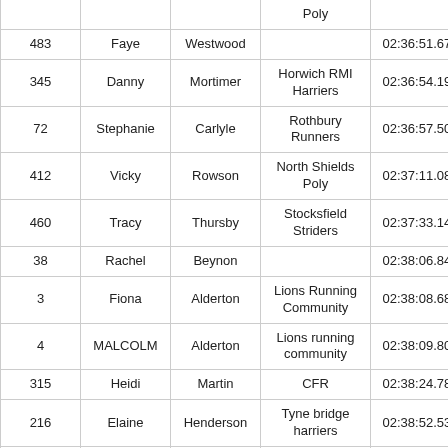|  |  |  | Poly |  |
| --- | --- | --- | --- | --- |
| 483 | Faye | Westwood |  | 02:36:51.674 |
| 345 | Danny | Mortimer | Horwich RMI Harriers | 02:36:54.194 |
| 72 | Stephanie | Carlyle | Rothbury Runners | 02:36:57.505 |
| 412 | Vicky | Rowson | North Shields Poly | 02:37:11.082 |
| 460 | Tracy | Thursby | Stocksfield Striders | 02:37:33.145 |
| 38 | Rachel | Beynon |  | 02:38:06.844 |
| 3 | Fiona | Alderton | Lions Running Community | 02:38:08.686 |
| 4 | MALCOLM | Alderton | Lions running community | 02:38:09.805 |
| 315 | Heidi | Martin | CFR | 02:38:24.783 |
| 216 | Elaine | Henderson | Tyne bridge harriers | 02:38:52.532 |
| 1 | Christopher | Addison |  | 02:40:12.738 |